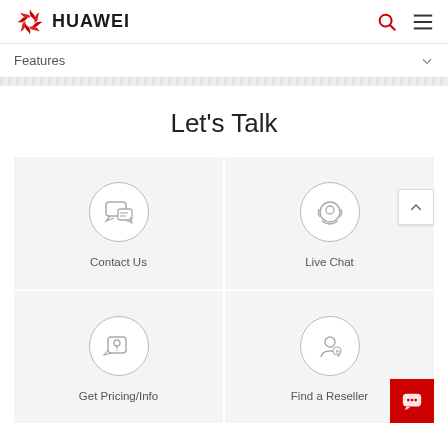[Figure (logo): Huawei logo with red flower/leaf icon and HUAWEI text in bold]
Features
Let's Talk
[Figure (illustration): Contact Us icon: chat bubble with hand/cursor inside a circle]
Contact Us
[Figure (illustration): Live Chat icon: headset/smiley face inside a circle]
Live Chat
[Figure (illustration): Get Pricing/Info icon: question mark in a chat bubble inside a circle]
Get Pricing/Info
[Figure (illustration): Find a Reseller icon: person with magnifier inside a circle]
Find a Reseller